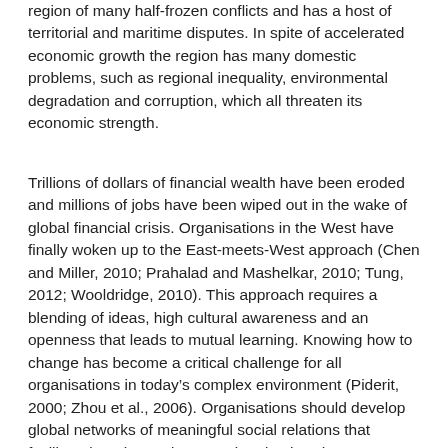region of many half-frozen conflicts and has a host of territorial and maritime disputes. In spite of accelerated economic growth the region has many domestic problems, such as regional inequality, environmental degradation and corruption, which all threaten its economic strength.
Trillions of dollars of financial wealth have been eroded and millions of jobs have been wiped out in the wake of global financial crisis. Organisations in the West have finally woken up to the East-meets-West approach (Chen and Miller, 2010; Prahalad and Mashelkar, 2010; Tung, 2012; Wooldridge, 2010). This approach requires a blending of ideas, high cultural awareness and an openness that leads to mutual learning. Knowing how to change has become a critical challenge for all organisations in today’s complex environment (Piderit, 2000; Zhou et al., 2006). Organisations should develop global networks of meaningful social relations that facilitate learning and engage in adaptive change. Learning is essential for South Asian and East Asian organisations in order to address the challenges these region are facing. This learning does not only have to come from the West. According to Khilji (2013), South and East